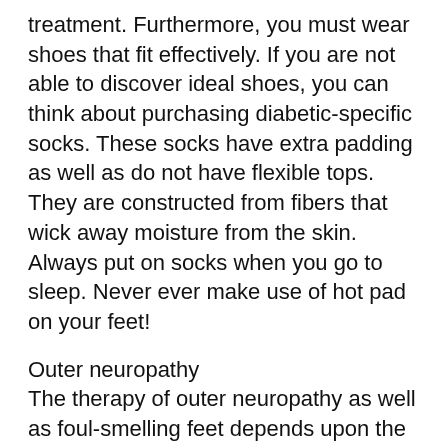treatment. Furthermore, you must wear shoes that fit effectively. If you are not able to discover ideal shoes, you can think about purchasing diabetic-specific socks. These socks have extra padding as well as do not have flexible tops. They are constructed from fibers that wick away moisture from the skin. Always put on socks when you go to sleep. Never ever make use of hot pad on your feet!
Outer neuropathy
The therapy of outer neuropathy as well as foul-smelling feet depends upon the underlying cause. Drugs for diabetic issues and vitamin shortage are two usual alternatives. If no well-known reason is located, treatment might include taking non